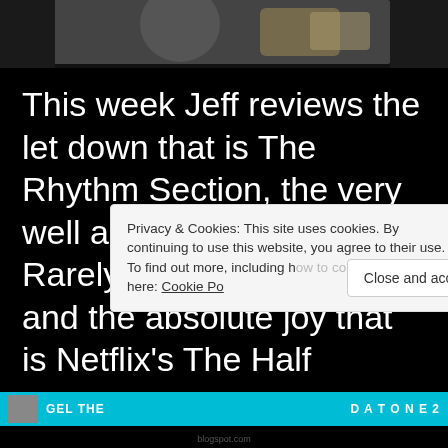[Figure (photo): Top portion of a dark photo, partial view of clothing/image at top of article]
This week Jeff reviews the let down that is The Rhythm Section, the very well acted movie Never Rarely Sometimes Always, and the absolute joy that is Netflix’s The Half
Privacy & Cookies: This site uses cookies. By continuing to use this website, you agree to their use.
To find out more, including how to control cookies, see here: Cookie Po
Close and accept
[Figure (screenshot): Bottom advertisement banner in cyan/teal color with image thumbnail and text]